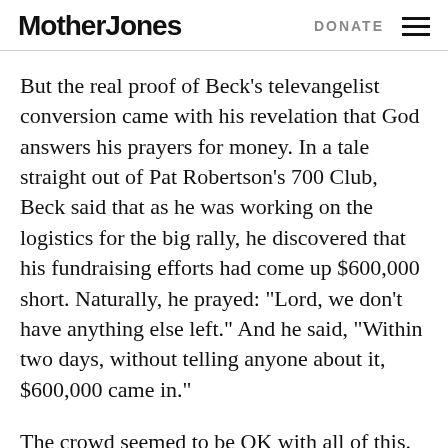Mother Jones   DONATE
But the real proof of Beck’s televangelist conversion came with his revelation that God answers his prayers for money. In a tale straight out of Pat Robertson’s 700 Club, Beck said that as he was working on the logistics for the big rally, he discovered that his fundraising efforts had come up $600,000 short. Naturally, he prayed: “Lord, we don’t have anything else left.” And he said, “Within two days, without telling anyone about it, $600,000 came in.”
The crowd seemed to be OK with all of this. For all the talk about how Beck’s event was going to be a test of the strength of the tea party movement, I